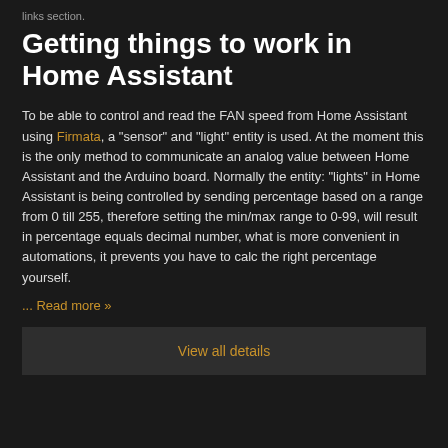links section.
Getting things to work in Home Assistant
To be able to control and read the FAN speed from Home Assistant using Firmata, a "sensor" and "light" entity is used. At the moment this is the only method to communicate an analog value between Home Assistant and the Arduino board. Normally the entity: "lights" in Home Assistant is being controlled by sending percentage based on a range from 0 till 255, therefore setting the min/max range to 0-99, will result in percentage equals decimal number, what is more convenient in automations, it prevents you have to calc the right percentage yourself.
... Read more »
View all details